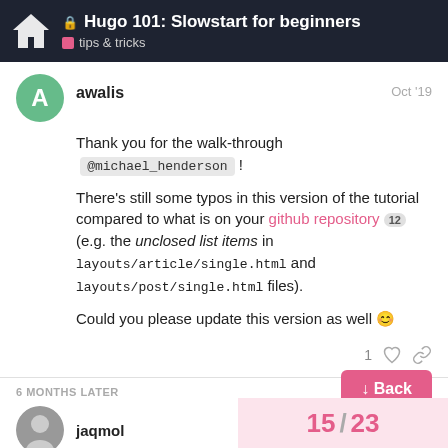Hugo 101: Slowstart for beginners — tips & tricks
awalis Oct '19
Thank you for the walk-through @michael_henderson !
There's still some typos in this version of the tutorial compared to what is on your github repository 12 (e.g. the unclosed list items in layouts/article/single.html and layouts/post/single.html files).
Could you please update this version as well 😊
1 ♡ 🔗
6 MONTHS LATER
jaqmol
↓ Back
15 / 23